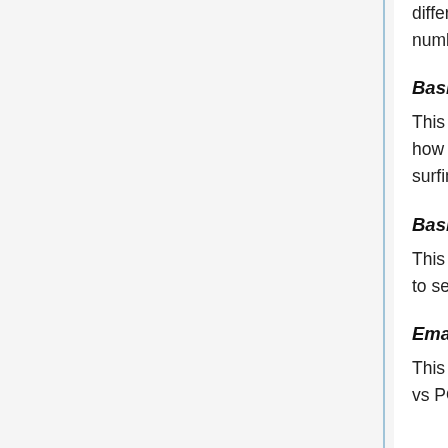different file types, and how to change font size, page alignment, numbering, margins etc.
Basic internet/web browsing:
This workshop includes an overview of different browsers, bookmarking, how to optimize your search results, and some basics on safe web-surfing.
Basics of computer and internet security:
This workshop digs into malware, how to create strong passwords, how to set-up secure wi-fi, and anti-virus programs.
Email:
This workshop covers browser-based email vs using a mail client, IMAP vs POP, attaching documents, archiving...